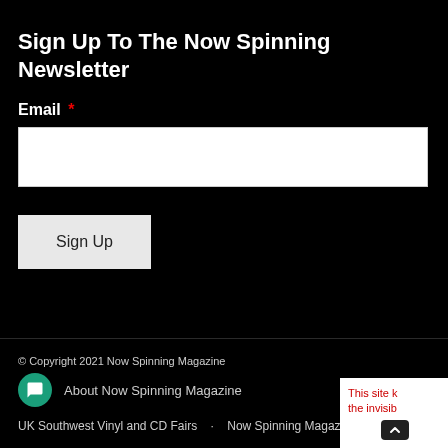Sign Up To The Now Spinning Newsletter
Email *
Sign Up
© Copyright 2021 Now Spinning Magazine
About Now Spinning Magazine
UK Southwest Vinyl and CD Fairs    Now Spinning Magazine Playlist
This site k the invisib